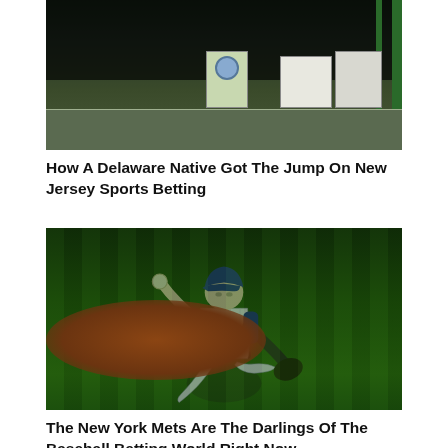[Figure (photo): Indoor/outdoor venue or sports facility entrance with dark interior, green structural posts, signs including one with a circular MLB logo, and a light-colored floor with a dividing line.]
How A Delaware Native Got The Jump On New Jersey Sports Betting
[Figure (photo): New York Mets pitcher number 48 in white pinstripe uniform winding up to throw a pitch on a baseball field at night.]
The New York Mets Are The Darlings Of The Baseball Betting World Right Now